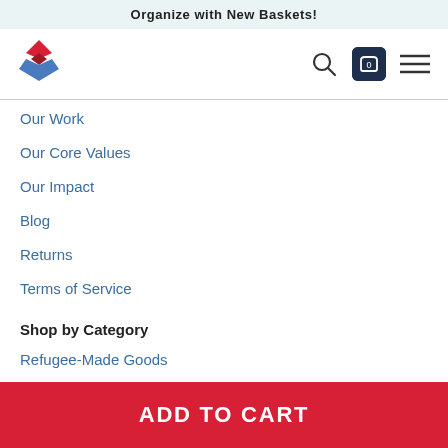Organize with New Baskets!
[Figure (logo): Red and blue diamond/cross logo]
Our Work
Our Core Values
Our Impact
Blog
Returns
Terms of Service
Shop by Category
Refugee-Made Goods
Apparel
ADD TO CART